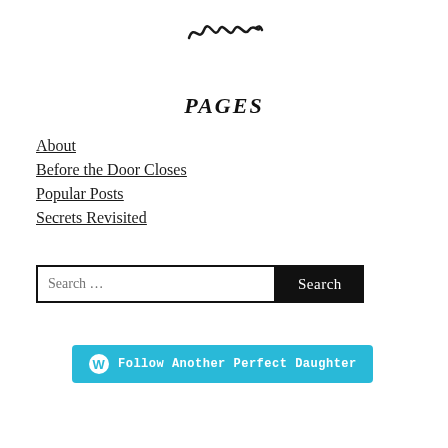[Figure (illustration): Decorative ornamental wave/scroll divider in black]
PAGES
About
Before the Door Closes
Popular Posts
Secrets Revisited
Search … [search box] Search [button]
Follow Another Perfect Daughter